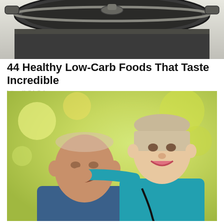[Figure (photo): Close-up of a cooking pot or pan, metallic, viewed from above, against a bright background.]
44 Healthy Low-Carb Foods That Taste Incredible
https://alldelish.com
[Figure (photo): An elderly man in a blue sweater sitting beside a smiling young female nurse/healthcare worker in teal scrubs with a stethoscope, photographed outdoors with a blurred green background.]